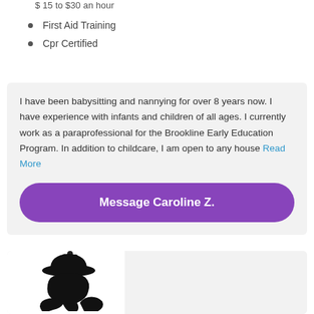$ 15 to $30 an hour
First Aid Training
Cpr Certified
I have been babysitting and nannying for over 8 years now. I have experience with infants and children of all ages. I currently work as a paraprofessional for the Brookline Early Education Program. In addition to childcare, I am open to any house Read More
Message Caroline Z.
[Figure (illustration): Silhouette of a person wearing a hat with a flower decoration, profile view facing right]